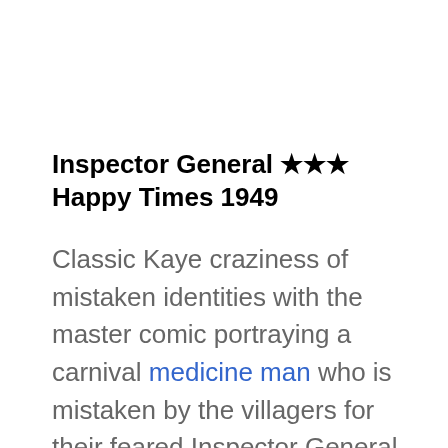Inspector General ★★★ Happy Times 1949
Classic Kaye craziness of mistaken identities with the master comic portraying a carnival medicine man who is mistaken by the villagers for their feared Inspector General. If you like Kaye's manic performance, you'll enjoy this one. ♪The Gypsy Drinking